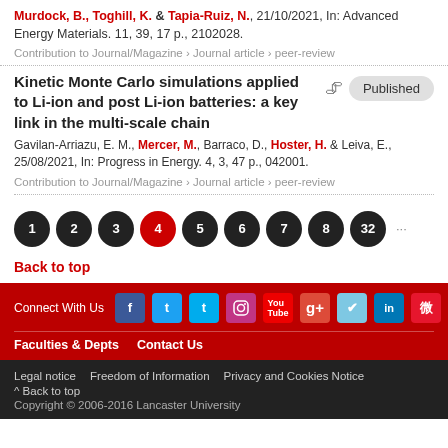Murdock, B., Toghill, K. & Tapia-Ruiz, N., 21/10/2021, In: Advanced Energy Materials. 11, 39, 17 p., 2102028.
Contribution to Journal/Magazine › Journal article › peer-review
Kinetic Monte Carlo simulations applied to Li-ion and post Li-ion batteries: a key link in the multi-scale chain
Published
Gavilan-Arriazu, E. M., Mercer, M., Barraco, D., Hoster, H. & Leiva, E., 25/08/2021, In: Progress in Energy. 4, 3, 47 p., 042001.
Contribution to Journal/Magazine › Journal article › peer-review
1 2 3 4 5 6 7 8 32
Back to top
Connect With Us | Faculties & Depts | Contact Us
Legal notice | Freedom of Information | Privacy and Cookies Notice | ^ Back to top | Copyright © 2006-2016 Lancaster University